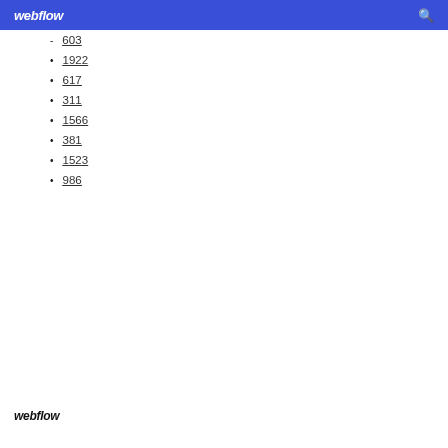webflow
- 603
1922
617
311
1566
381
1523
986
webflow